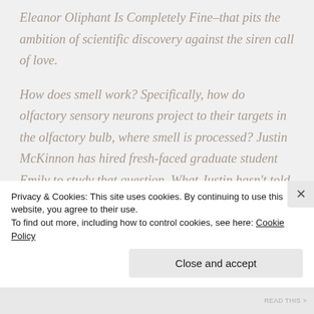Eleanor Oliphant Is Completely Fine–that pits the ambition of scientific discovery against the siren call of love.
How does smell work? Specifically, how do olfactory sensory neurons project to their targets in the olfactory bulb, where smell is processed? Justin McKinnon has hired fresh-faced graduate student Emily to study that question. What Justin hasn't told Emily is that two other scientists in the lab, Andon, and...
Privacy & Cookies: This site uses cookies. By continuing to use this website, you agree to their use.
To find out more, including how to control cookies, see here: Cookie Policy